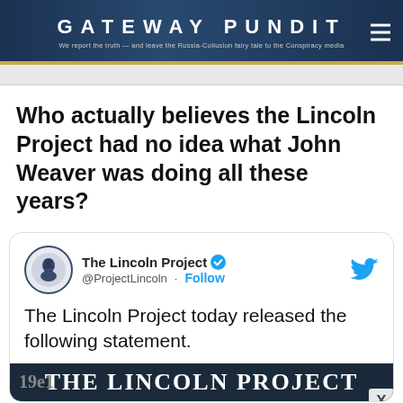GATEWAY PUNDIT — We report the truth — and leave the Russia-Collusion fairy tale to the Conspiracy media
Who actually believes the Lincoln Project had no idea what John Weaver was doing all these years?
[Figure (screenshot): Tweet from The Lincoln Project (@ProjectLincoln) with Follow button and Twitter bird icon. Tweet text: 'The Lincoln Project today released the following statement.' with a partial image strip showing 'THE LINCOLN PROJECT' text.]
Advertisement
Meet Marvel's First Muslim Superhero, Iman Vellani
Brainberries